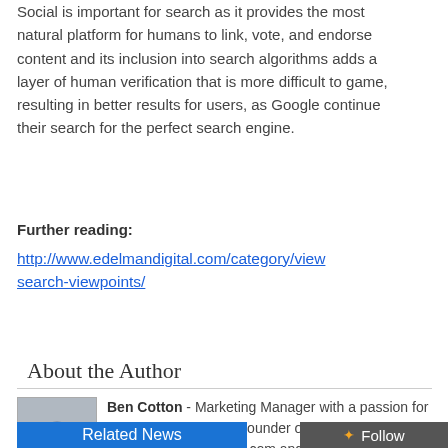Social is important for search as it provides the most natural platform for humans to link, vote, and endorse content and its inclusion into search algorithms adds a layer of human verification that is more difficult to game, resulting in better results for users, as Google continue their search for the perfect search engine.
Further reading:
http://www.edelmandigital.com/category/viewpoints/search-viewpoints/
About the Author
Ben Cotton - Marketing Manager with a passion for inbound at HubSpot, Founder of Growth Hack Talks, Blogger at Ben-Cotton.com and Chief Quaffer at CraftySwine.org .
Related News
Follow